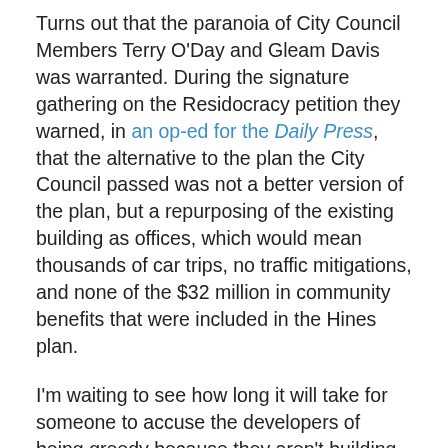Turns out that the paranoia of City Council Members Terry O'Day and Gleam Davis was warranted. During the signature gathering on the Residocracy petition they warned, in an op-ed for the Daily Press, that the alternative to the plan the City Council passed was not a better version of the plan, but a repurposing of the existing building as offices, which would mean thousands of car trips, no traffic mitigations, and none of the $32 million in community benefits that were included in the Hines plan.
I'm waiting to see how long it will take for someone to accuse the developers of being greedy because they aren't building, across from the Bergamot Expo station, plazas, streets, sidewalks, etc., accessible to the public.
Not to mention the nearly 500 units of housing we're not